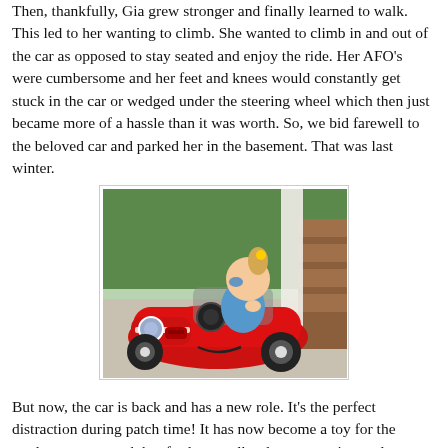Then, thankfully, Gia grew stronger and finally learned to walk. This led to her wanting to climb. She wanted to climb in and out of the car as opposed to stay seated and enjoy the ride. Her AFO's were cumbersome and her feet and knees would constantly get stuck in the car or wedged under the steering wheel which then just became more of a hassle than it was worth. So, we bid farewell to the beloved car and parked her in the basement. That was last winter.
[Figure (photo): A young girl with face paint and a hair accessory sits in a red Radio Flyer-style ride-on toy car on a concrete surface with trees and wooden steps visible in the background.]
But now, the car is back and has a new role. It's the perfect distraction during patch time! It has now become a toy for the outdoors as we push her for long walks along our quiet roads.